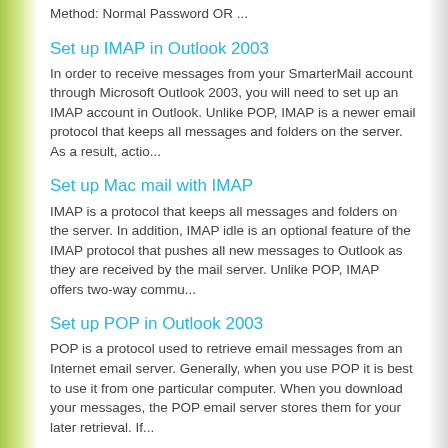Method: Normal Password OR ...
Set up IMAP in Outlook 2003
In order to receive messages from your SmarterMail account through Microsoft Outlook 2003, you will need to set up an IMAP account in Outlook. Unlike POP, IMAP is a newer email protocol that keeps all messages and folders on the server. As a result, actio...
Set up Mac mail with IMAP
IMAP is a protocol that keeps all messages and folders on the server. In addition, IMAP idle is an optional feature of the IMAP protocol that pushes all new messages to Outlook as they are received by the mail server. Unlike POP, IMAP offers two-way commu...
Set up POP in Outlook 2003
POP is a protocol used to retrieve email messages from an Internet email server. Generally, when you use POP it is best to use it from one particular computer. When you download your messages, the POP email server stores them for your later retrieval. If...